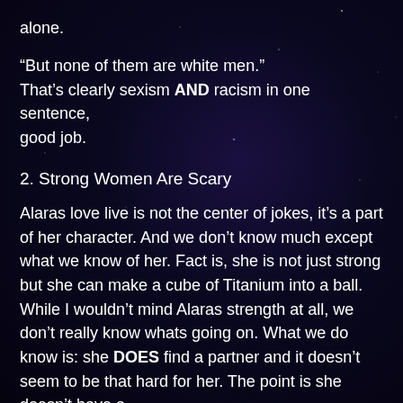alone.
“But none of them are white men.”
That’s clearly sexism AND racism in one sentence, good job.
2. Strong Women Are Scary
Alaras love live is not the center of jokes, it’s a part of her character. And we don’t know much except what we know of her. Fact is, she is not just strong but she can make a cube of Titanium into a ball. While I wouldn’t mind Alaras strength at all, we don’t really know whats going on. What we do know is: she DOES find a partner and it doesn’t seem to be that hard for her. The point is she doesn’t have a